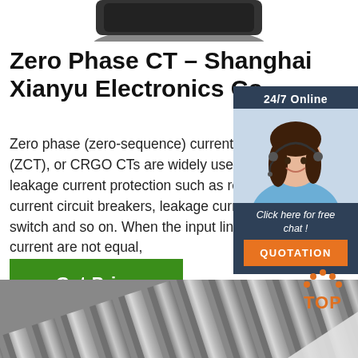[Figure (photo): Top portion of a product image showing a black electronic component on white background]
Zero Phase CT – Shanghai Xianyu Electronics Co.
Zero phase (zero-sequence) current transformers (ZCT), or CRGO CTs are widely used in leakage current protection such as residual current circuit breakers, leakage current switch and so on. When the input line and current are not equal,
[Figure (photo): Chat widget with 24/7 Online label, woman with headset, Click here for free chat text, and QUOTATION button]
[Figure (other): Get Price green button]
[Figure (photo): Bottom photo of metallic cylindrical rods/tubes viewed from above at an angle]
[Figure (logo): TOP badge with orange arc dots and orange text TOP]